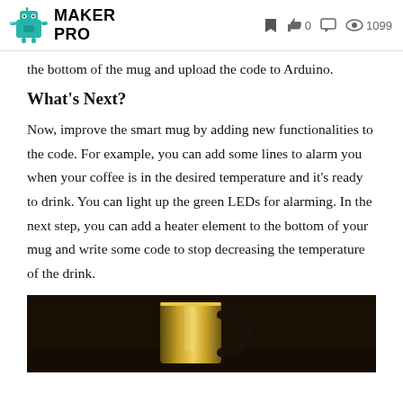MAKER PRO | 0 | 1099
the bottom of the mug and upload the code to Arduino.
What's Next?
Now, improve the smart mug by adding new functionalities to the code. For example, you can add some lines to alarm you when your coffee is in the desired temperature and it's ready to drink. You can light up the green LEDs for alarming. In the next step, you can add a heater element to the bottom of your mug and write some code to stop decreasing the temperature of the drink.
[Figure (photo): A metallic/golden smart mug with a dark handle photographed against a dark background.]